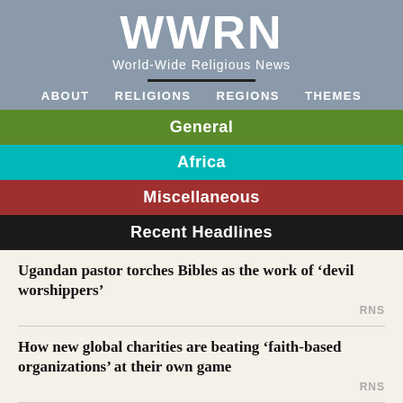WWRN
World-Wide Religious News
ABOUT  RELIGIONS  REGIONS  THEMES
General
Africa
Miscellaneous
Recent Headlines
Ugandan pastor torches Bibles as the work of ‘devil worshippers’
RNS
How new global charities are beating ‘faith-based organizations’ at their own game
RNS